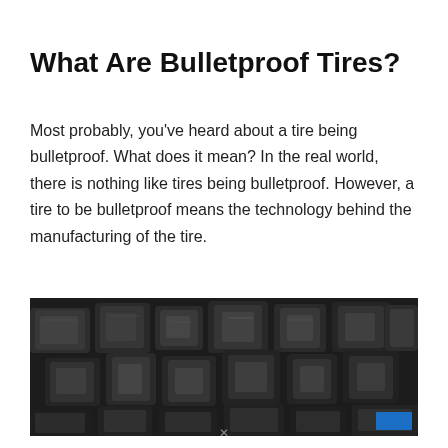What Are Bulletproof Tires?
Most probably, you’ve heard about a tire being bulletproof. What does it mean? In the real world, there is nothing like tires being bulletproof. However, a tire to be bulletproof means the technology behind the manufacturing of the tire.
[Figure (photo): Close-up photograph of dark metallic tire tread blocks or industrial rubber/metal components with geometric patterns, showing detailed textures in dark grey and black tones.]